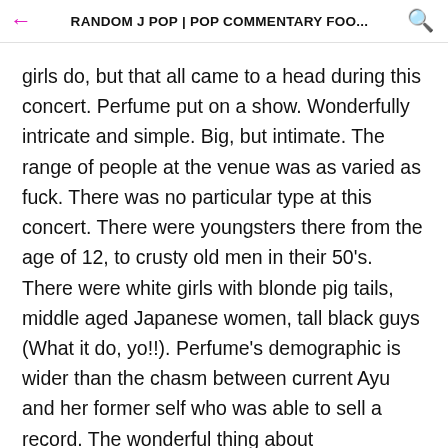RANDOM J POP | POP COMMENTARY FOO...
girls do, but that all came to a head during this concert. Perfume put on a show. Wonderfully intricate and simple. Big, but intimate. The range of people at the venue was as varied as fuck. There was no particular type at this concert. There were youngsters there from the age of 12, to crusty old men in their 50's. There were white girls with blonde pig tails, middle aged Japanese women, tall black guys (What it do, yo!!). Perfume's demographic is wider than the chasm between current Ayu and her former self who was able to sell a record. The wonderful thing about